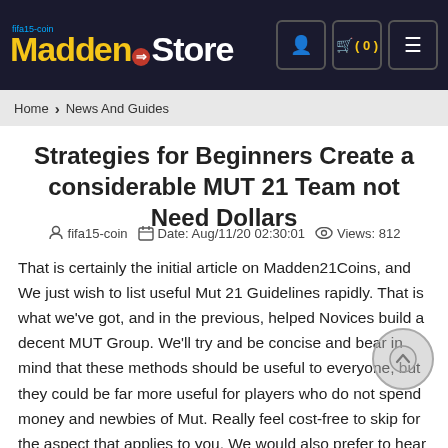fifa15-coin Madden Store — navigation header with cart icon (0) and menu
Home › News And Guides
Strategies for Beginners Create a considerable MUT 21 Team not Need Dollars
fifa15-coin   Date: Aug/11/20 02:30:01   Views: 812
That is certainly the initial article on Madden21Coins, and We just wish to list useful Mut 21 Guidelines rapidly. That is what we've got, and in the previous, helped Novices build a decent MUT Group. We'll try and be concise and bear in mind that these methods should be useful to everyone, but they could be far more useful for players who do not spend money and newbies of Mut. Really feel cost-free to skip for the aspect that applies to you. We would also prefer to hear useful feedback and tips for you personally. Let's commence! One particular far more thing, We commented beneath, this is not to insult or belittle people who do spend